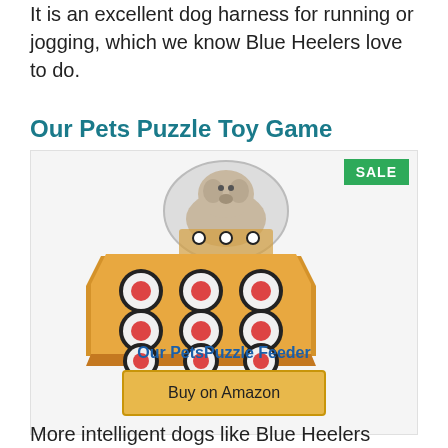It is an excellent dog harness for running or jogging, which we know Blue Heelers love to do.
Our Pets Puzzle Toy Game
[Figure (photo): Product image of Our Pets Puzzle Feeder — a wooden board with 9 circular puzzle discs arranged in a 3x3 grid, with an oval inset photo of a dog sniffing the puzzle. A green 'SALE' badge appears in the top-right corner.]
Our PetsPuzzle Feeder
Buy on Amazon
More intelligent dogs like Blue Heelers